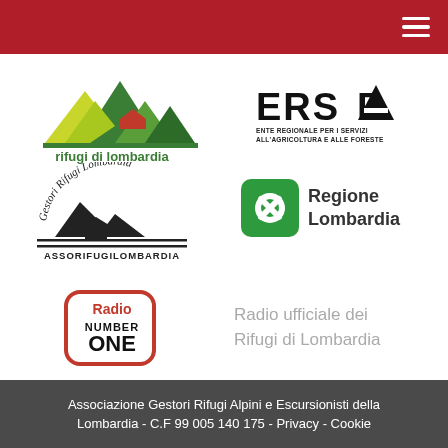[Figure (logo): Red navigation bar with hamburger menu icon (three white horizontal lines) on the right]
[Figure (logo): Rifugi di Lombardia logo: colorful geometric mountains in yellow-green and dark green with a red house shape, green text below reading 'rifugi di lombardia']
[Figure (logo): ERSAF logo: large bold black text 'ERSAF' with stylized A, subtitle 'ENTE REGIONALE PER I SERVIZI ALL'AGRICOLTURA E ALLE FORESTE']
[Figure (logo): Gestori Rifugi Lombardia / AssoRifugiLombardia logo: black and white illustration of mountain peaks with a chalet, decorative border, cursive text 'Gestori Rifugi Lombardia' above and 'ASSORIFUGILOMBARDIA' below]
[Figure (logo): Regione Lombardia logo: green rounded square with white X/plus symbol, text 'Regione Lombardia' in dark gray to the right]
[Figure (logo): Radio Number ONE logo: rounded rectangle border in red, text 'Radio' in red, 'NUMBER' in black, 'ONE' bold black; beside it gray text 'Radio ufficiale dei Rifugi di Lombardia']
Associazione Gestori Rifugi Alpini e Escursionisti della Lombardia - C.F 99 005 140 175 - Privacy - Cookie